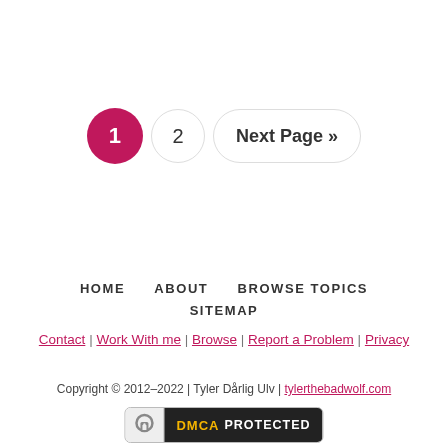[Figure (other): Pagination controls: active page 1 (pink circle), page 2 (circle outline), Next Page button (pill outline)]
HOME   ABOUT   BROWSE TOPICS   SITEMAP
Contact | Work With me | Browse | Report a Problem | Privacy
Copyright © 2012–2022 | Tyler Dårlig Ulv | tylerthebadwolf.com
[Figure (other): DMCA Protected badge with lock icon]